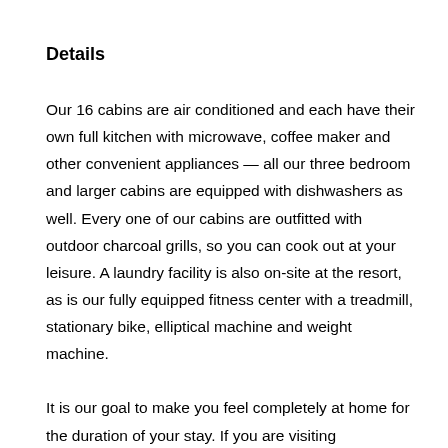Details
Our 16 cabins are air conditioned and each have their own full kitchen with microwave, coffee maker and other convenient appliances — all our three bedroom and larger cabins are equipped with dishwashers as well. Every one of our cabins are outfitted with outdoor charcoal grills, so you can cook out at your leisure. A laundry facility is also on-site at the resort, as is our fully equipped fitness center with a treadmill, stationary bike, elliptical machine and weight machine.

It is our goal to make you feel completely at home for the duration of your stay. If you are visiting...